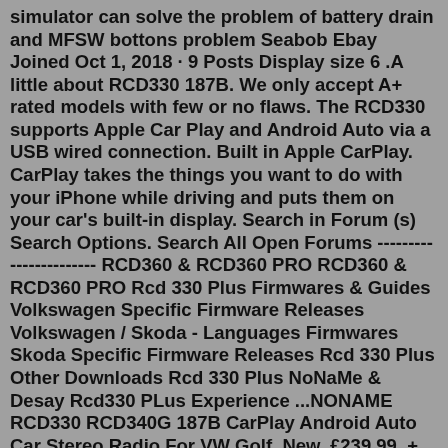simulator can solve the problem of battery drain and MFSW bottons problem Seabob Ebay Joined Oct 1, 2018 · 9 Posts Display size 6 .A little about RCD330 187B. We only accept A+ rated models with few or no flaws. The RCD330 supports Apple Car Play and Android Auto via a USB wired connection. Built in Apple CarPlay. CarPlay takes the things you want to do with your iPhone while driving and puts them on your car's built-in display. Search in Forum (s) Search Options. Search All Open Forums ----------------------- RCD360 & RCD360 PRO RCD360 & RCD360 PRO Rcd 330 Plus Firmwares & Guides Volkswagen Specific Firmware Releases Volkswagen / Skoda - Languages Firmwares Skoda Specific Firmware Releases Rcd 330 Plus Other Downloads Rcd 330 Plus NoNaMe & Desay Rcd330 PLus Experience ...NONAME RCD330 RCD340G 187B CarPlay Android Auto Car Stereo Radio For VW Golf. New. £239.99. + £19.00 P&P. Seller 100% positive. RCD330 plus 187G Noname Car Radio 6.5" Apple CarPlay Android Auto For VW Golf Passat B7 Touareg.